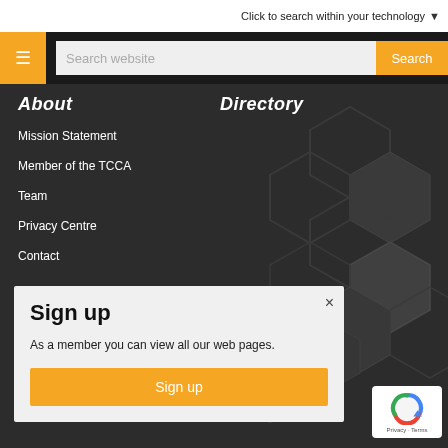Click to search within your technology ▼
≡
Search website
Search
About
Mission Statement
Member of the TCCA
Team
Privacy Centre
Contact
Directory
News
Events
Sign up
As a member you can view all our web pages.
Sign up